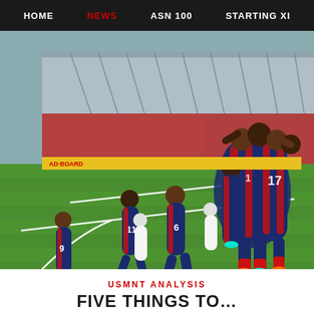HOME | NEWS | ASN 100 | STARTING XI
[Figure (photo): USMNT soccer players celebrating a goal on the field, wearing red and blue striped uniforms, in a packed stadium with green turf. Players wearing numbers 9, 11, and 6 visible running toward a group hug near the corner of the field.]
USMNT ANALYSIS
FIVE THINGS TO...